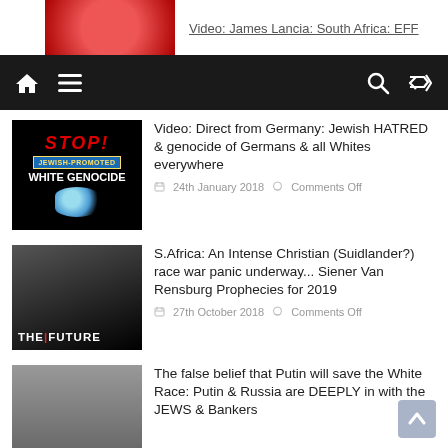Video: James Lancia: South Africa: EFF
[Figure (screenshot): Navigation bar with home icon, hamburger menu, search icon, and shuffle icon on dark background]
Video: Direct from Germany: Jewish HATRED & genocide of Germans & all Whites everywhere
24th January 2018  Comments Off
S.Africa: An Intense Christian (Suidlander?) race war panic underway... Siener Van Rensburg Prophecies for 2019
27th October 2018  Comments Off
The false belief that Putin will save the White Race: Putin & Russia are DEEPLY in with the JEWS & Bankers